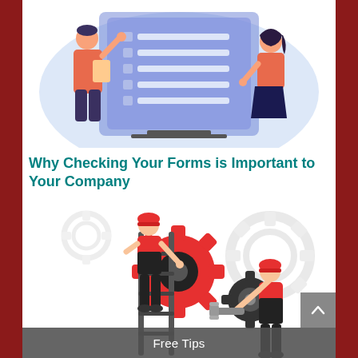[Figure (illustration): Two people interacting with a large checklist/form on a screen. One person holds a clipboard (wearing orange/red top and dark pants), another person stands beside the screen (wearing orange/red top and dark skirt). The screen has a blue/purple background with checkbox items listed.]
Why Checking Your Forms is Important to Your Company
[Figure (illustration): Two workers in red shirts and dark overalls working with gears and a ladder. One worker stands on a ladder turning a large red gear, another stands holding a wrench near smaller gears. Background shows multiple grey gears.]
Free Tips